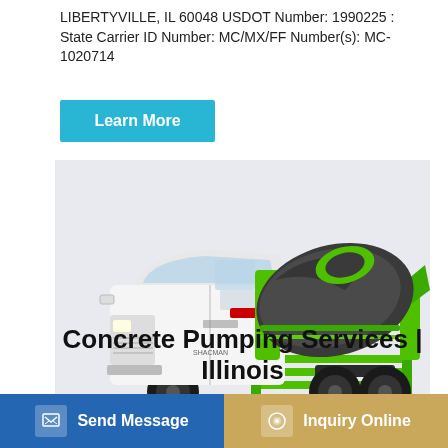LIBERTYVILLE, IL 60048 USDOT Number: 1990225 : State Carrier ID Number: MC/MX/FF Number(s): MC-1020714
Learn More
[Figure (photo): A white concrete mixer truck with a green and dark gray rotating drum, green chassis frame, and large black tires, photographed on a light gray background.]
Concrete Pumping Services | Illinois
Send Message
Inquiry Online